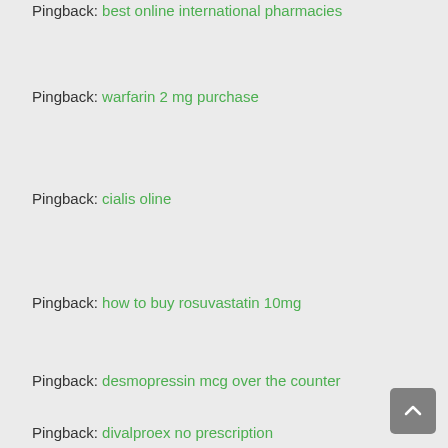Pingback: best online international pharmacies
Pingback: warfarin 2 mg purchase
Pingback: cialis oline
Pingback: how to buy rosuvastatin 10mg
Pingback: desmopressin mcg over the counter
Pingback: divalproex no prescription